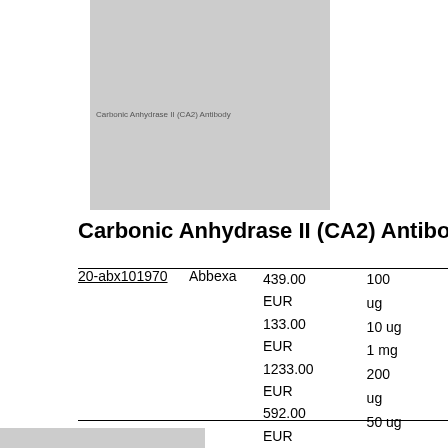[Figure (other): Gray box header image placeholder with small label text 'Carbonic Anhydrase II (CA2) Antibody']
Carbonic Anhydrase II (CA2) Antibody
|  | Supplier | Price | Size |
| --- | --- | --- | --- |
| 20-abx101970 | Abbexa | 439.00 EUR
133.00 EUR
1233.00 EUR
592.00 EUR
328.00 EUR | 100 ug
10 ug
1 mg
200 ug
50 ug |